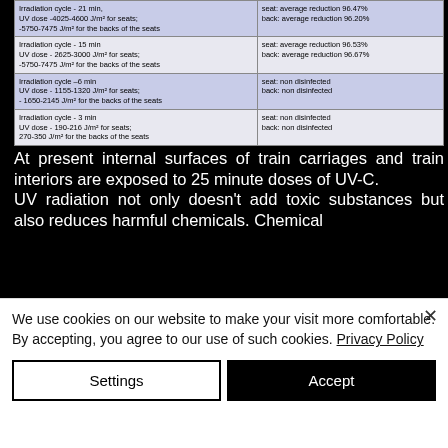| Irradiation conditions | Results |
| --- | --- |
| Irradiation cycle - 21 min,
UV dose -4025-4600 J/m² for seats;
-5750-7475 J/m² for the backs of the seats | seat: average reduction 96.47%
back: average reduction 96.20% |
| Irradiation cycle - 15 min
UV dose - 2625-3000 J/m² for seats;
-5750-7475 J/m² for the backs of the seats | seat: average reduction 96.53%
back: average reduction 96.67% |
| Irradiation cycle –6 min
UV dose - 1155-1320 J/m² for seats;
- 1650-2145 J/m² for the backs of the seats | seat: non disinfected
back: non disinfected |
| Irradiation cycle - 3 min
UV dose - 190-216 J/m² for seats;
270-350 J/m² for the backs of the seats | seat: non disinfected
back: non disinfected |
At present internal surfaces of train carriages and train interiors are exposed to 25 minute doses of UV-C. UV radiation not only doesn't add toxic substances but also reduces harmful chemicals. Chemical
We use cookies on our website to make your visit more comfortable. By accepting, you agree to our use of such cookies. Privacy Policy